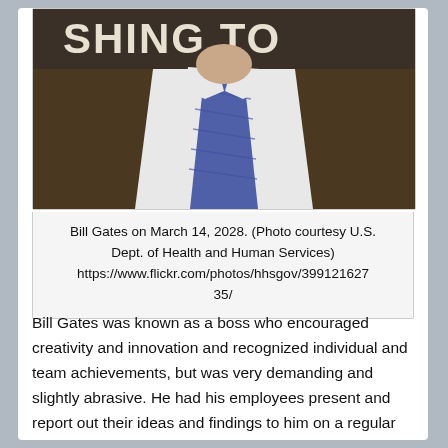[Figure (photo): Photo of a man in a suit and blue tie against a partial background text reading 'SHING TO'. The image is cropped showing the torso and lower face/neck area.]
Bill Gates on March 14, 2028. (Photo courtesy U.S. Dept. of Health and Human Services) https://www.flickr.com/photos/hhsgov/39912162735/
Bill Gates was known as a boss who encouraged creativity and innovation and recognized individual and team achievements, but was very demanding and slightly abrasive. He had his employees present and report out their ideas and findings to him on a regular basis, regularly interrupting them in order to question and challenge their facts and assumptions. His leadership style was primarily authoritarian, but he was also a transformational